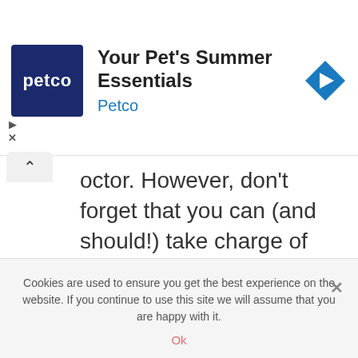[Figure (screenshot): Petco advertisement banner with Petco logo (white text on dark blue background), headline 'Your Pet's Summer Essentials', subtext 'Petco' in blue, and a blue diamond navigation icon on the right. Controls showing play and X symbols on the left.]
octor. However, don't forget that you can (and should!) take charge of your health.
I managed to balance my hormones after getting off the pill; I cured my acne, my horrible menstrual cramps, and most of my bloating naturally. If only they would have told us this before… But remember, if
Cookies are used to ensure you get the best experience on the website. If you continue to use this site we will assume that you are happy with it.
Ok